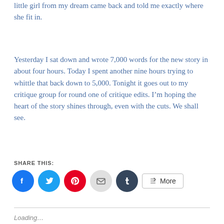little girl from my dream came back and told me exactly where she fit in.
Yesterday I sat down and wrote 7,000 words for the new story in about four hours. Today I spent another nine hours trying to whittle that back down to 5,000. Tonight it goes out to my critique group for round one of critique edits. I'm hoping the heart of the story shines through, even with the cuts. We shall see.
SHARE THIS:
[Figure (infographic): Social sharing buttons: Facebook (blue circle), Twitter (light blue circle), Pinterest (red circle), Email (grey circle), Tumblr (dark navy circle), and a More button with share icon]
Loading...